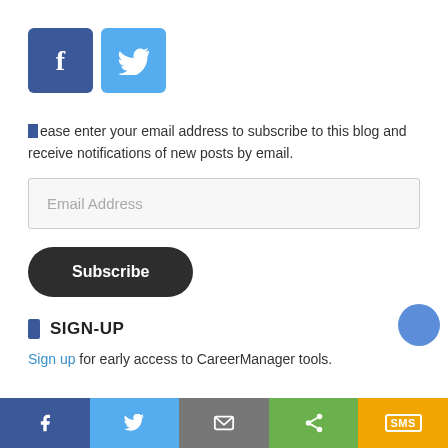[Figure (other): Facebook and Twitter social share buttons — blue rounded squares with 'f' and bird icons]
Please enter your email address to subscribe to this blog and receive notifications of new posts by email.
[Figure (other): Email address input field with placeholder text 'Email Address']
[Figure (other): Dark rounded Subscribe button]
SIGN-UP
Sign up for early access to CareerManager tools.
[Figure (other): Bottom social sharing bar with Facebook, Twitter, Email, Share, and SMS buttons]